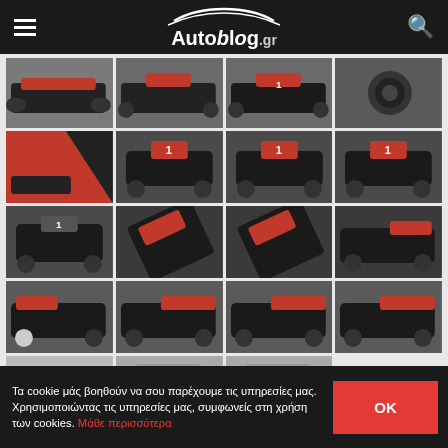[Figure (screenshot): Autoblog.gr website header with hamburger menu, logo, and search icon on dark background]
[Figure (photo): Grid of racing car (Audi LMP1) photos in dark/red livery — 4 rows of 4 images plus partial 5th row]
Τα cookie μάς βοηθούν να σου παρέχουμε τις υπηρεσίες μας. Χρησιμοποιώντας τις υπηρεσίες μας, συμφωνείς στη χρήση των cookies. Μάθε περισσότερα
OK